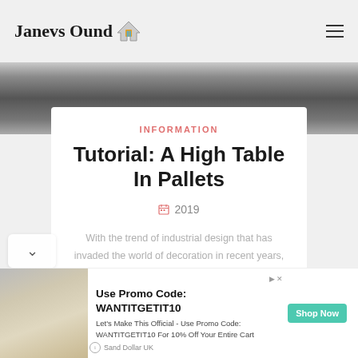Janevs Ound 🏠
[Figure (photo): Blurred indoor/kitchen background image strip at top of article]
INFORMATION
Tutorial: A High Table In Pallets
2019
With the trend of industrial design that has invaded the world of decoration in recent years, we have seen wooden pallets reused in all forms. Another trend in recent years, the standing desk (understand office
[Figure (photo): Advertisement banner: Sand Dollar UK promo featuring a woman at the beach. Use Promo Code: WANTITGETIT10. Let's Make This Official - Use Promo Code: WANTITGETIT10 For 10% Off Your Entire Cart. Shop Now button.]